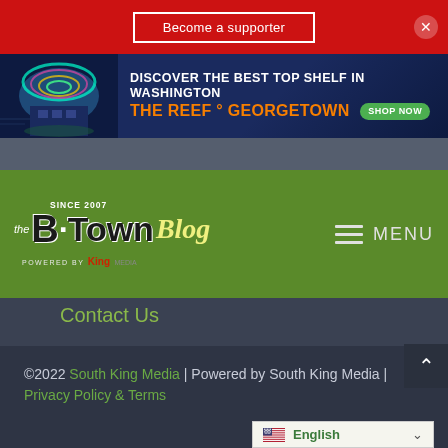Become a supporter
[Figure (screenshot): Advertisement banner for The Reef Georgetown cannabis shop with text: DISCOVER THE BEST TOP SHELF IN WASHINGTON THE REEF ° GEORGETOWN SHOP NOW]
[Figure (logo): The B·Town Blog logo - Since 2007, Powered by King Media, on green background with MENU hamburger navigation]
Contact Us
©2022 South King Media | Powered by South King Media | Privacy Policy & Terms
English